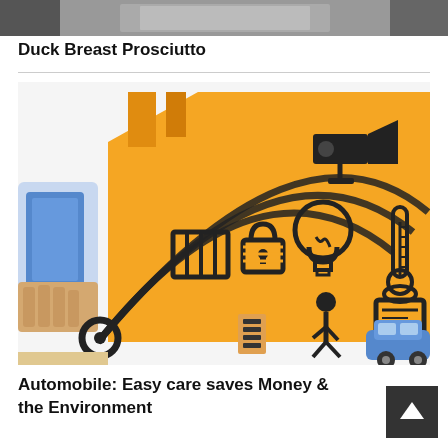[Figure (photo): Partial photo at top of page, dark/gray tones, appears to be a kitchen or food-related image]
Duck Breast Prosciutto
[Figure (illustration): Orange smart home / IoT infographic illustration showing a hand holding a smartphone with wifi signal waves, and smart home icons including security camera, lightbulb, thermometer, vacuum, alarm clock, and a blue car, all against an orange house silhouette background]
Automobile: Easy care saves Money & the Environment